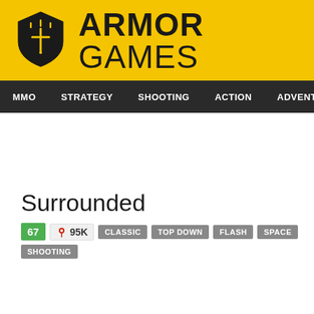[Figure (logo): Armor Games logo with yellow background, shield icon, and bold text ARMOR GAMES]
MMO  STRATEGY  SHOOTING  ACTION  ADVENTURE  P
Surrounded
67  95K  CLASSIC  TOP DOWN  FLASH  SPACE  SHOOTING